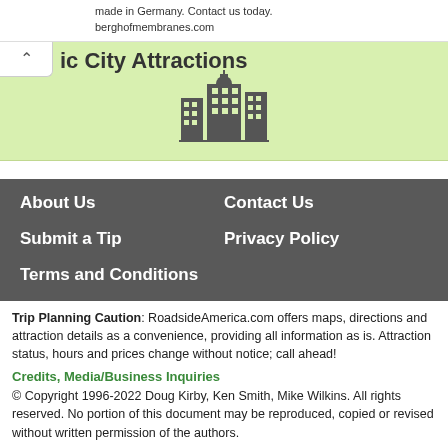made in Germany. Contact us today. berghofmembranes.com
ic City Attractions
[Figure (illustration): City skyline icon showing buildings and a dome]
About Us
Contact Us
Submit a Tip
Privacy Policy
Terms and Conditions
Trip Planning Caution: RoadsideAmerica.com offers maps, directions and attraction details as a convenience, providing all information as is. Attraction status, hours and prices change without notice; call ahead!
Credits, Media/Business Inquiries
© Copyright 1996-2022 Doug Kirby, Ken Smith, Mike Wilkins. All rights reserved. No portion of this document may be reproduced, copied or revised without written permission of the authors.